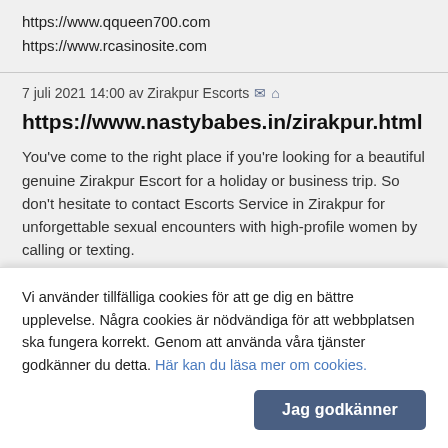https://www.qqueen700.com
https://www.rcasinosite.com
7 juli 2021 14:00 av Zirakpur Escorts
https://www.nastybabes.in/zirakpur.html
You've come to the right place if you're looking for a beautiful genuine Zirakpur Escort for a holiday or business trip. So don't hesitate to contact Escorts Service in Zirakpur for unforgettable sexual encounters with high-profile women by calling or texting.
7 juli 2021 13:24 av BodyCor Keto
BodyCor Keto
Vi använder tillfälliga cookies för att ge dig en bättre upplevelse. Några cookies är nödvändiga för att webbplatsen ska fungera korrekt. Genom att använda våra tjänster godkänner du detta. Här kan du läsa mer om cookies.